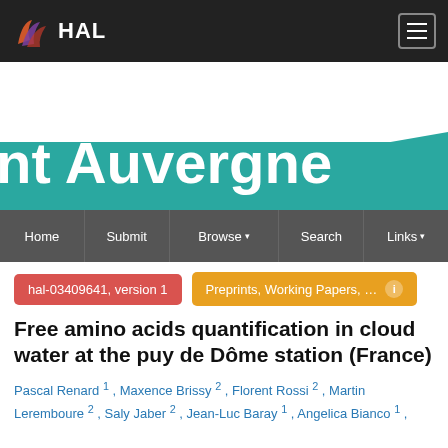HAL
[Figure (logo): HAL open archive logo with colorful wave icon and white HAL text on dark background, with hamburger menu icon]
[Figure (illustration): Teal diagonal banner background with partial text 'nt Auvergne' in large white bold font]
Home | Submit | Browse | Search | Links
hal-03409641, version 1
Preprints, Working Papers, ...
Free amino acids quantification in cloud water at the puy de Dôme station (France)
Pascal Renard 1 , Maxence Brissy 2 , Florent Rossi 2 , Martin Leremboure 2 , Saly Jaber 2 , Jean-Luc Baray 1 , Angelica Bianco 1 ,